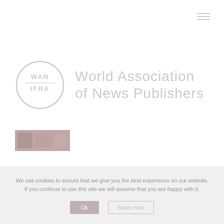[Figure (logo): Hamburger/navigation menu icon — three horizontal lines, top right corner]
[Figure (logo): WAN-IFRA World Association of News Publishers logo: circular badge with WAN IFRA text and wordmark to the right, rendered in light grey]
[Figure (photo): Small rectangular banner/thumbnail image, reddish-grey tone, bottom-left area]
We use cookies to ensure that we give you the best experience on our website. If you continue to use this site we will assume that you are happy with it.
[Figure (other): Two buttons: an 'Ok' button (filled) and a 'Read more' or similar button (outlined), centered in cookie consent bar]